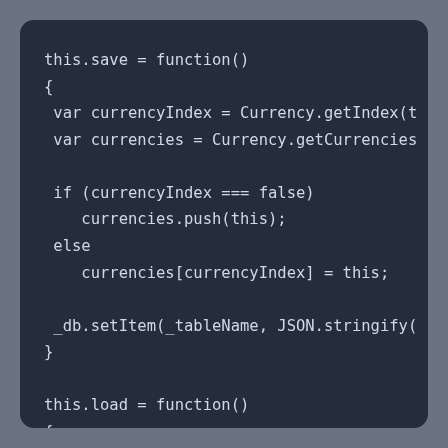[Figure (screenshot): Dark-themed code editor screenshot showing JavaScript code with two functions: this.save and this.load. The save function gets currencyIndex and currencies, checks if currencyIndex === false then pushes or replaces, then calls _db.setItem. The load function returns JSON.parse(_db.getItem(_tableName)).]